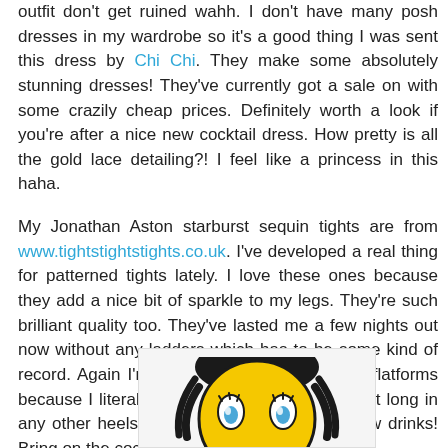outfit don't get ruined wahh. I don't have many posh dresses in my wardrobe so it's a good thing I was sent this dress by Chi Chi. They make some absolutely stunning dresses! They've currently got a sale on with some crazily cheap prices. Definitely worth a look if you're after a nice new cocktail dress. How pretty is all the gold lace detailing?! I feel like a princess in this haha.

My Jonathan Aston starburst sequin tights are from www.tightstightstights.co.uk. I've developed a real thing for patterned tights lately. I love these ones because they add a nice bit of sparkle to my legs. They're such brilliant quality too. They've lasted me a few nights out now without any ladders which has to be some kind of record. Again I'm wearing my beloved ASOS flatforms because I literally can't stand or dance all night long in any other heels, especially after I've had a few drinks! Bring on the cocktails ;)
[Figure (illustration): Yellow smiley face emoji with blue eyes, eyelashes, and dark hair shown from top of frame]